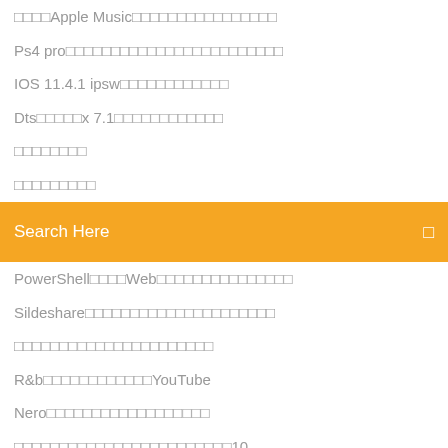□□□□Apple Music□□□□□□□□□□□□□□□□
Ps4 pro□□□□□□□□□□□□□□□□□□□□□□□□
IOS 11.4.1 ipsw□□□□□□□□□□□□
Dts□□□□□x 7.1□□□□□□□□□□□□
□□□□□□□□
□□□□□□□□□
Search Here
PowerShell□□□□Web□□□□□□□□□□□□□□□
Sildeshare□□□□□□□□□□□□□□□□□□□□□
□□□□□□□□□□□□□□□□□□□□□□
R&b□□□□□□□□□□□□YouTube
Nero□□□□□□□□□□□□□□□□□□
□□□□□□□□□□□□□□□□□□□□□□□□10
Doom 3□□□□□□□□□□
Hp laserjet 1212nf mfp□□□□□□□□□□□□
□□□□□□□□□□□□□
□□□□□□□□□iphone□□□□□□□□□□
PC□□□□□□□□□□□